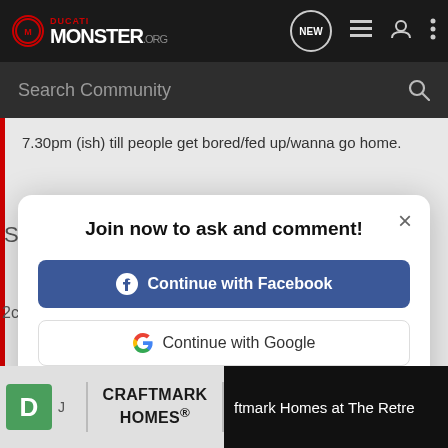DUCATI MONSTER.org
Search Community
7.30pm (ish) till people get bored/fed up/wanna go home.
Orchard Valley Coffee House
Join now to ask and comment!
Continue with Facebook
Continue with Google
or sign up with email
CRAFTMARK HOMES®
ftmark Homes at The Retre